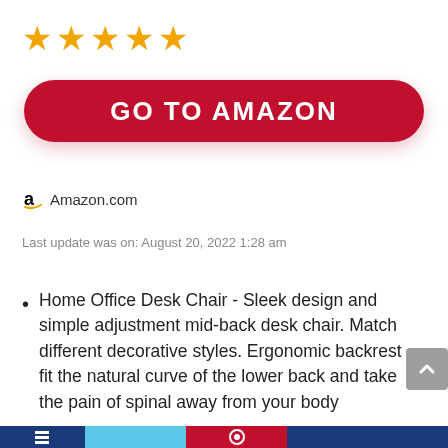[Figure (other): Five gold star rating icons]
[Figure (other): Red rounded button with text GO TO AMAZON in white bold letters]
Amazon.com
Last update was on: August 20, 2022 1:28 am
Home Office Desk Chair - Sleek design and simple adjustment mid-back desk chair. Match different decorative styles. Ergonomic backrest fit the natural curve of the lower back and take the pain of spinal away from your body
Space Saving - You can flip the arms up and put the chair under the desk for saving space.Suitable
[Figure (other): Bottom navigation bar with dark blue, light blue, crimson, and dark blue segments with icons]